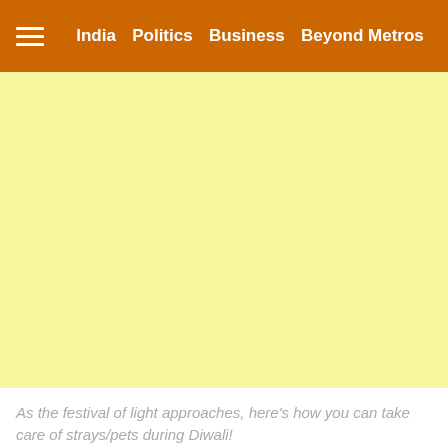India | Politics | Business | Beyond Metros
[Figure (other): Yellow/cream advertisement placeholder area]
As the festival of light approaches, here's how you can take care of strays/pets during Diwali!